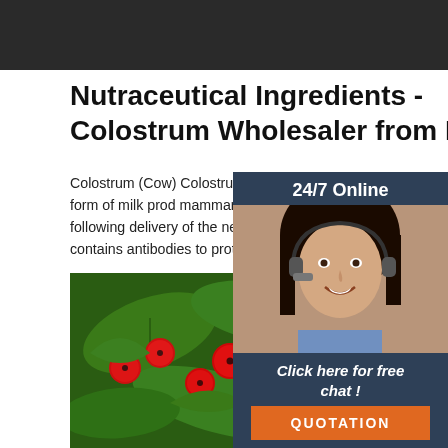[Figure (photo): Dark background image bar at top of page]
Nutraceutical Ingredients - Colostrum Wholesaler from Delhi
Colostrum (Cow) Colostrum (known colloquially as bisnings or first milk) is the first form of milk produced by the mammary glands of mammals (including many humans) immediately following delivery of the newborn [3] Females will generate colostrum just prior to giving birth. Colostrum contains antibodies to protect the newborn again
[Figure (photo): 24/7 Online chat widget with female customer service agent wearing headset. Includes 'Click here for free chat!' text and orange QUOTATION button.]
[Figure (photo): Close-up photo of red berries (cranberries or similar) on green leafy branches. Orange TOP watermark in lower right corner.]